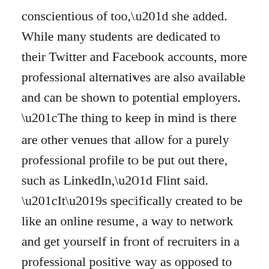conscientious of too,” she added. While many students are dedicated to their Twitter and Facebook accounts, more professional alternatives are also available and can be shown to potential employers. “The thing to keep in mind is there are other venues that allow for a purely professional profile to be put out there, such as LinkedIn,” Flint said. “It’s specifically created to be like an online resume, a way to network and get yourself in front of recruiters in a professional positive way as opposed to Facebook which is meant more for the social interaction.” Flint said that the biggest pitfall for students when